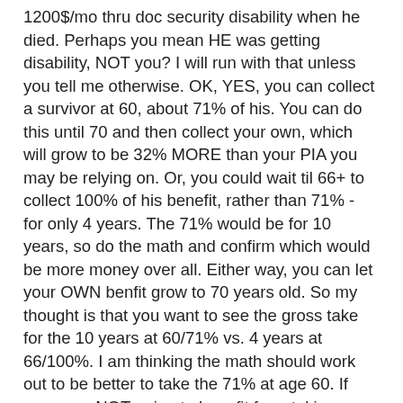1200$/mo thru doc security disability when he died. Perhaps you mean HE was getting disability, NOT you? I will run with that unless you tell me otherwise. OK, YES, you can collect a survivor at 60, about 71% of his. You can do this until 70 and then collect your own, which will grow to be 32% MORE than your PIA you may be relying on. Or, you could wait til 66+ to collect 100% of his benefit, rather than 71% - for only 4 years. The 71% would be for 10 years, so do the math and confirm which would be more money over all. Either way, you can let your OWN benfit grow to 70 years old. So my thought is that you want to see the gross take for the 10 years at 60/71% vs. 4 years at 66/100%. I am thinking the math should work out to be better to take the 71% at age 60. If you were NOT going to benefit from taking your own (let's say you were a low earner), then I'd NOT suggest taking before 66 if you could help it, but the survival benefit is only temporary for you. Again again, if you can wait til 70 instead of 66, your